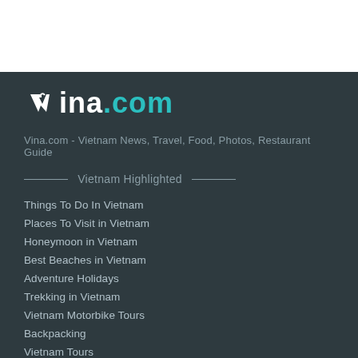[Figure (logo): Vina.com logo — stylized 'V' icon followed by 'ina' in white bold text and '.com' in teal bold text]
Vina.com - Vietnam News, Travel, Food, Photos, Restaurant Guide
______Vietnam Highlighted______
Things To Do In Vietnam
Places To Visit in Vietnam
Honeymoon in Vietnam
Best Beaches in Vietnam
Adventure Holidays
Trekking in Vietnam
Vietnam Motorbike Tours
Backpacking
Vietnam Tours